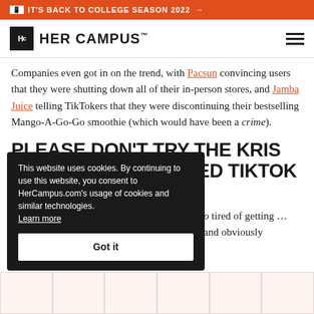IT'S BACK TO COLLEGE SEASON 2022 →
[Figure (logo): Her Campus logo with Hc icon and HER CAMPUS wordmark, plus hamburger menu icon]
Companies even got in on the trend, with Pacsun convincing users that they were shutting down all of their in-person stores, and Jamba Juice telling TikTokers that they were discontinuing their bestselling Mango-A-Go-Go smoothie (which would have been a crime).
PLEASE DON'T TRY THE KRIS JENNER #GETKRISSED TIKTOK TREND.
…these viral TikTok trends out …u. I'm so, so tired of getting …ore, and I'm desperate. It …TikTok anymore, and obviously
This website uses cookies. By continuing to use this website, you consent to HerCampus.com's usage of cookies and similar technologies. Learn more Got it